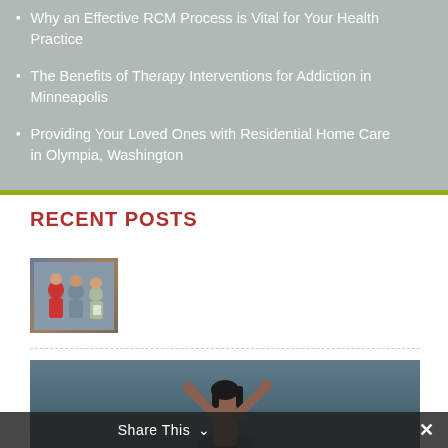Why an Effective RCM Process is Vital for Your Health Practice
The Benefits of Therapy Interventions for Addiction in Minneapolis
Providing Your Loved Ones with Residential Home Care in Olympia, Washington
RECENT POSTS
[Figure (photo): Small thumbnail photo showing people in a therapy or counseling session]
[Figure (photo): Large photo of a woman with hands raised, appears stressed or emotional, gray/blue background]
Share This